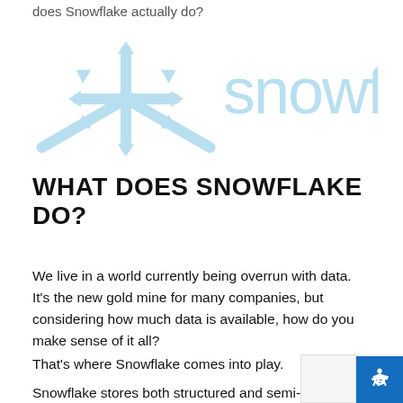does Snowflake actually do?
[Figure (logo): Snowflake company logo — light blue snowflake icon on the left and the word 'snowflake' in light blue on the right]
WHAT DOES SNOWFLAKE DO?
We live in a world currently being overrun with data. It's the new gold mine for many companies, but considering how much data is available, how do you make sense of it all?
That's where Snowflake comes into play.
Snowflake stores both structured and semi-structured data, converting it into a usable